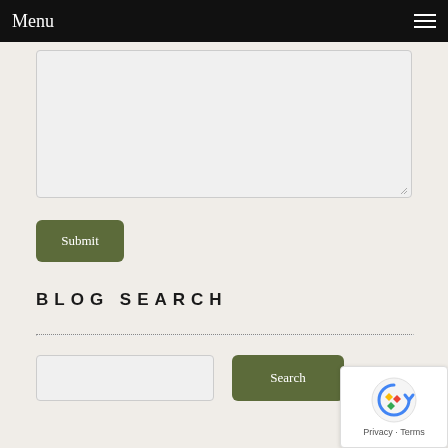Menu
[Figure (screenshot): Textarea input field with light gray background and resize handle in bottom-right corner]
Submit
BLOG SEARCH
[Figure (screenshot): Search input field and Search button side by side]
[Figure (other): reCAPTCHA badge with logo and Privacy - Terms text]